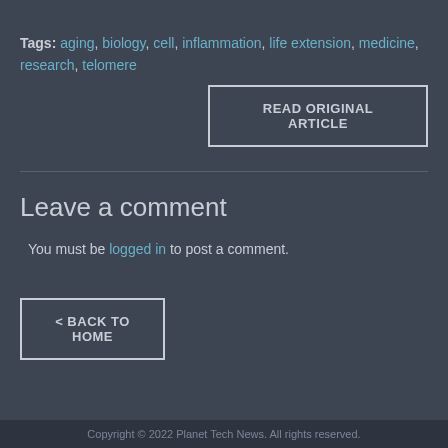Tags: aging, biology, cell, inflammation, life extension, medicine, research, telomere
READ ORIGINAL ARTICLE
Leave a comment
You must be logged in to post a comment.
< BACK TO HOME
Copyright © 2022 Planet Tech News. All rights reserved.